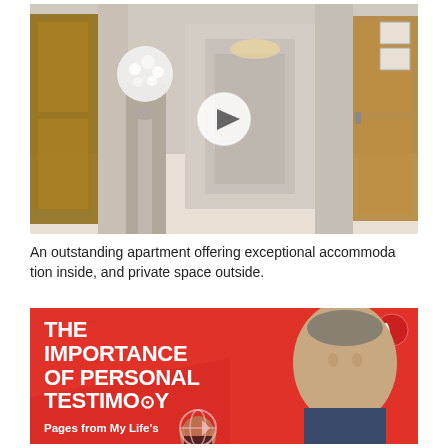[Figure (photo): Interior hallway of an apartment showing wooden doors, a tall silver vase with white flowers, marble floor, and framed pictures on the wall. A circular play button overlay is centered on the image.]
An outstanding apartment offering exceptional accommodation inside, and private space outside.
[Figure (photo): Red advertisement banner reading 'THE IMPORTANCE OF PERSONAL TESTIMONY' with subtitle 'Pages from My Life's' and a logo icon top right. Shows a man's face on the right side and a partial woman's face at the bottom center with a globe/world icon overlay.]